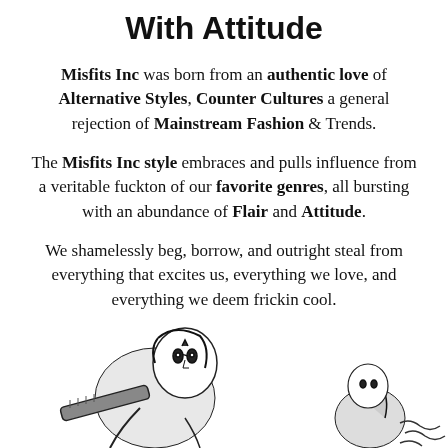With Attitude
Misfits Inc was born from an authentic love of Alternative Styles, Counter Cultures a general rejection of Mainstream Fashion & Trends.
The Misfits Inc style embraces and pulls influence from a veritable fuckton of our favorite genres, all bursting with an abundance of Flair and Attitude.
We shamelessly beg, borrow, and outright steal from everything that excites us, everything we love, and everything we deem frickin cool.
[Figure (illustration): Black and white illustration of a comic-style female character holding a weapon, partially visible at the bottom of the page]